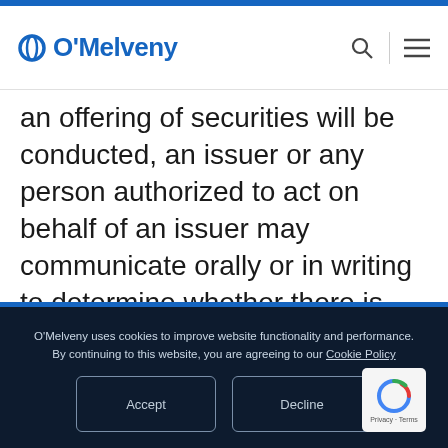O'Melveny
an offering of securities will be conducted, an issuer or any person authorized to act on behalf of an issuer may communicate orally or in writing to determine whether there is any interest in a contemplated offering of securities exempt from registration under the [Securities] Act. Such communications are deemed to be an offer of a security for sale for purposes of the antifraud
O'Melveny uses cookies to improve website functionality and performance. By continuing to this website, you are agreeing to our Cookie Policy
Accept
Decline